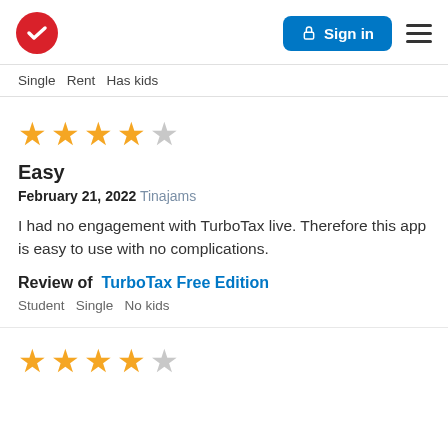TurboTax header with logo, Sign in button, and menu
Single   Rent   Has kids
[Figure (other): 4 out of 5 stars rating]
Easy
February 21, 2022 Tinajams
I had no engagement with TurboTax live. Therefore this app is easy to use with no complications.
Review of TurboTax Free Edition
Student   Single   No kids
[Figure (other): 4 out of 5 stars rating (second review)]